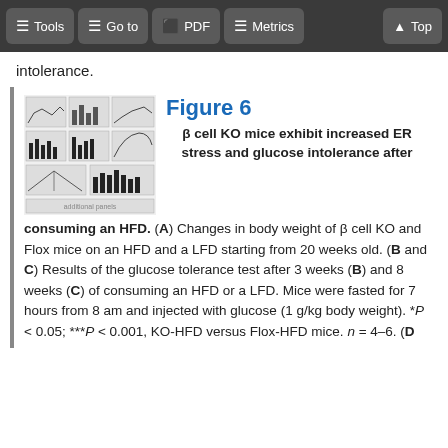Tools  Go to  PDF  Metrics  Top
intolerance.
[Figure (other): Thumbnail grid of multiple sub-panels from Figure 6 showing line graphs, bar graphs, and other scientific charts related to β cell KO mice study.]
Figure 6
β cell KO mice exhibit increased ER stress and glucose intolerance after consuming an HFD. (A) Changes in body weight of β cell KO and Flox mice on an HFD and a LFD starting from 20 weeks old. (B and C) Results of the glucose tolerance test after 3 weeks (B) and 8 weeks (C) of consuming an HFD or a LFD. Mice were fasted for 7 hours from 8 am and injected with glucose (1 g/kg body weight). *P < 0.05; ***P < 0.001, KO-HFD versus Flox-HFD mice. n = 4–6. (D